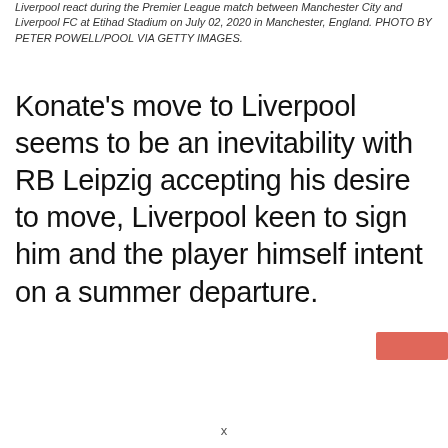Liverpool react during the Premier League match between Manchester City and Liverpool FC at Etihad Stadium on July 02, 2020 in Manchester, England. PHOTO BY PETER POWELL/POOL VIA GETTY IMAGES.
Konate's move to Liverpool seems to be an inevitability with RB Leipzig accepting his desire to move, Liverpool keen to sign him and the player himself intent on a summer departure.